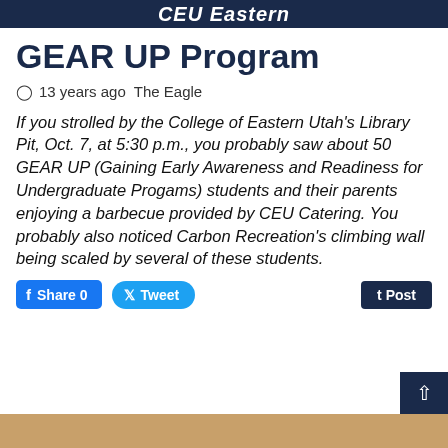CEU Eastern
GEAR UP Program
13 years ago  The Eagle
If you strolled by the College of Eastern Utah's Library Pit, Oct. 7, at 5:30 p.m., you probably saw about 50 GEAR UP (Gaining Early Awareness and Readiness for Undergraduate Progams) students and their parents enjoying a barbecue provided by CEU Catering. You probably also noticed Carbon Recreation's climbing wall being scaled by several of these students.
Share 0  Tweet  Post